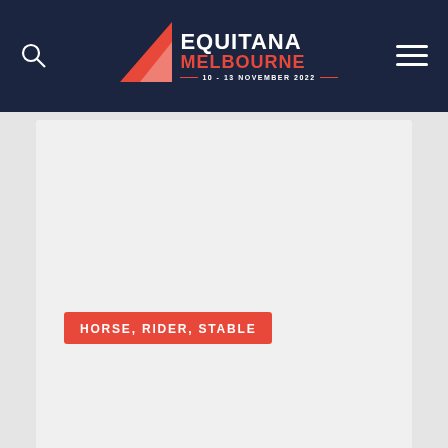EQUITANA MELBOURNE 10 - 13 NOVEMBER 2022
HORSE, RIDER, STABLE
LADDYS CHOICE
Stall: 103
PETstock Pavilion